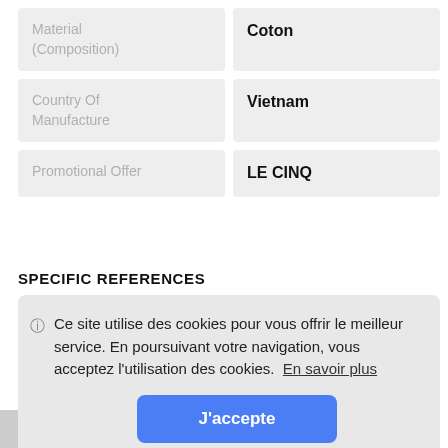| Attribute | Value |
| --- | --- |
| Material (Composition) | Coton |
| Country Of Manufacture | Vietnam |
| Promotional Offer | LE CINQ |
SPECIFIC REFERENCES
Ce site utilise des cookies pour vous offrir le meilleur service. En poursuivant votre navigation, vous acceptez l'utilisation des cookies. En savoir plus
[Figure (screenshot): Cookie consent overlay with 'J'accepte' accept button in blue and a partial product image at the bottom]